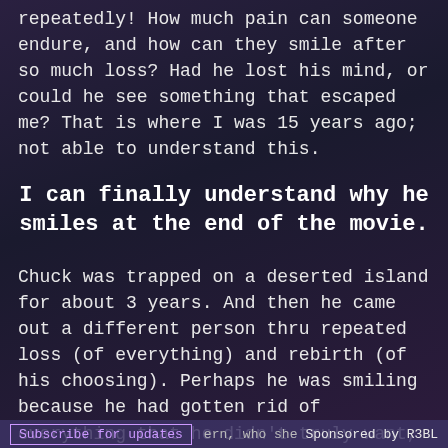repeatedly! How much pain can someone endure, and how can they smile after so much loss? Had he lost his mind, or could he see something that escaped me? That is where I was 15 years ago; not able to understand this.
I can finally understand why he smiles at the end of the movie.
Chuck was trapped on a deserted island for about 3 years. And then he came out a different person thru repeated loss (of everything) and rebirth (of his choosing). Perhaps he was smiling because he had gotten rid of everything that he didn't truly want, so his loss removed the cruft, clutter, garbage, and lies from his life. And in that moment, at the crossroads, he could finally go after what he truly wanted. Perhaps it was the artist woman w/ the angel
Subscribe for updates   (ern, who she he)   Sponsored by R3BL